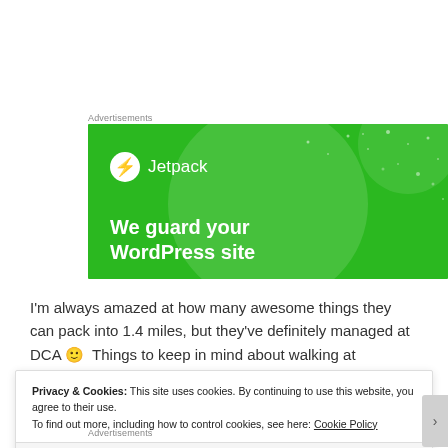Advertisements
[Figure (illustration): Jetpack advertisement banner on green background with logo and tagline 'We guard your WordPress site']
I'm always amazed at how many awesome things they can pack into 1.4 miles, but they've definitely managed at DCA 🙂  Things to keep in mind about walking at
Privacy & Cookies: This site uses cookies. By continuing to use this website, you agree to their use.
To find out more, including how to control cookies, see here: Cookie Policy
Close and accept
Advertisements